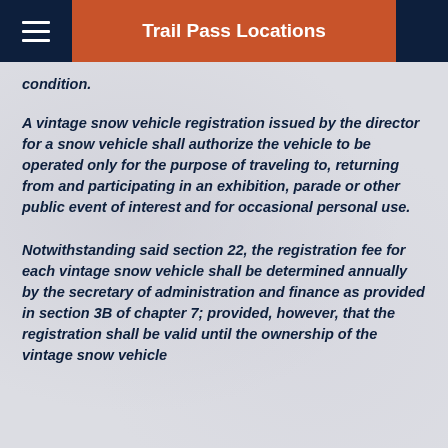Trail Pass Locations
condition.
A vintage snow vehicle registration issued by the director for a snow vehicle shall authorize the vehicle to be operated only for the purpose of traveling to, returning from and participating in an exhibition, parade or other public event of interest and for occasional personal use.
Notwithstanding said section 22, the registration fee for each vintage snow vehicle shall be determined annually by the secretary of administration and finance as provided in section 3B of chapter 7; provided, however, that the registration shall be valid until the ownership of the vintage snow vehicle